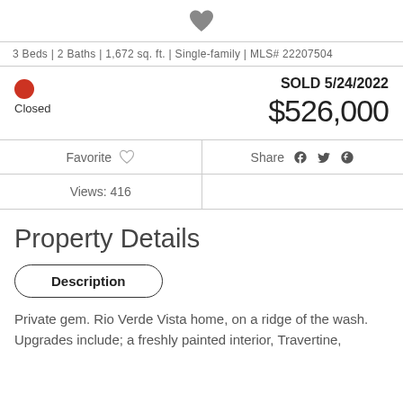[Figure (other): Heart icon (favorite) at top center]
3 Beds | 2 Baths | 1,672 sq. ft. | Single-family | MLS# 22207504
SOLD 5/24/2022
$526,000
Closed
Favorite  Share
Views: 416
Property Details
Description
Private gem. Rio Verde Vista home, on a ridge of the wash. Upgrades include; a freshly painted interior, Travertine,